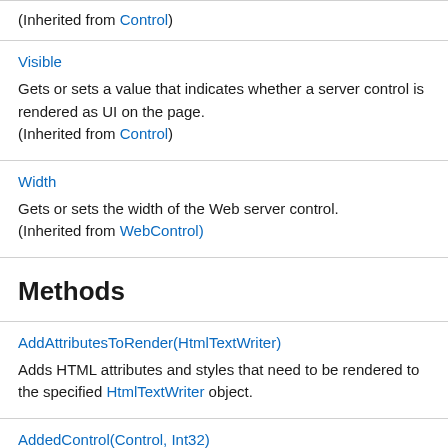(Inherited from Control)
Visible
Gets or sets a value that indicates whether a server control is rendered as UI on the page.
(Inherited from Control)
Width
Gets or sets the width of the Web server control.
(Inherited from WebControl)
Methods
AddAttributesToRender(HtmlTextWriter)
Adds HTML attributes and styles that need to be rendered to the specified HtmlTextWriter object.
AddedControl(Control, Int32)
Called after a child control is added to the Controls collection of